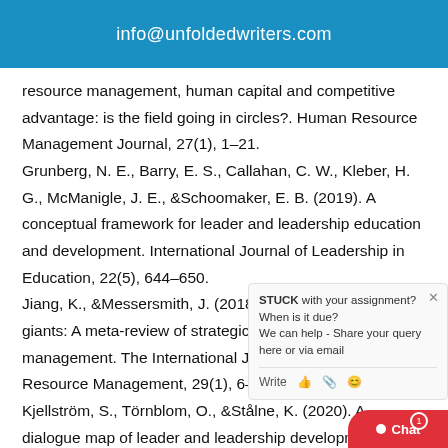info@unfoldedwriters.com
resource management, human capital and competitive advantage: is the field going in circles?. Human Resource Management Journal, 27(1), 1–21. Grunberg, N. E., Barry, E. S., Callahan, C. W., Kleber, H. G., McManigle, J. E., &Schoomaker, E. B. (2019). A conceptual framework for leader and leadership education and development. International Journal of Leadership in Education, 22(5), 644–650. Jiang, K., &Messersmith, J. (2018). On the shoulders of giants: A meta-review of strategic human resource management. The International Journal of Human Resource Management, 29(1), 6–33. Kjellström, S., Törnblom, O., &Stålne, K. (2020). A dialogue map of leader and leadership development